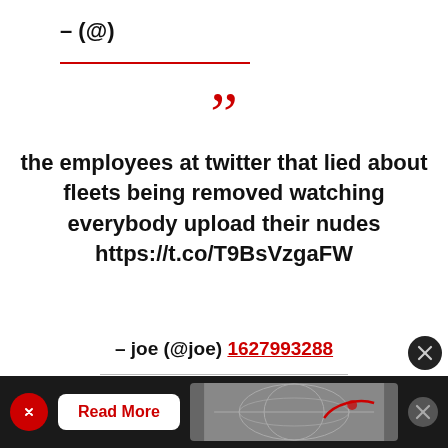– (@)
the employees at twitter that lied about fleets being removed watching everybody upload their nudes https://t.co/T9BsVzgaFW
– joe (@joe) 1627993288
everyone deleting their fleets today https://t.co/9ySpelIWdO
[Figure (screenshot): Advertisement bar at bottom with red bird icon, Read More button, world map graphic, and X close button]